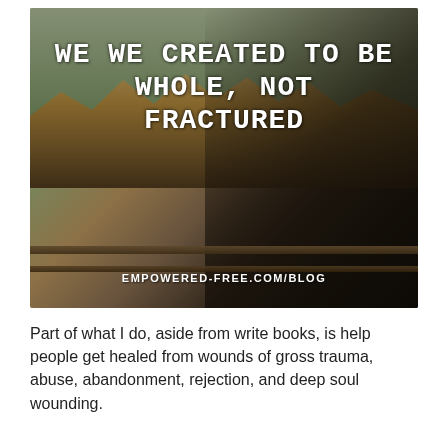[Figure (photo): A woman with long red hair wearing a dark jacket and grey beanie hat, standing on a wooden balcony holding a dark mug, looking out over an autumn landscape with green and orange trees. Overlaid with bold white text reading 'WE WE CREATED TO BE WHOLE, NOT FRACTURED' and a URL 'EMPOWERED-FREE.COM/BLOG' at the bottom.]
Part of what I do, aside from write books, is help people get healed from wounds of gross trauma, abuse, abandonment, rejection, and deep soul wounding.